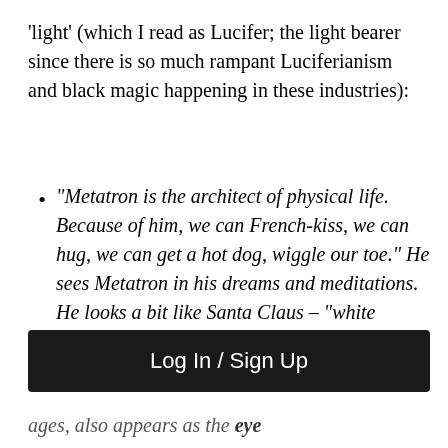'light' (which I read as Lucifer; the light bearer since there is so much rampant Luciferianism and black magic happening in these industries):
"Metatron is the architect of physical life. Because of him, we can French-kiss, we can hug, we can get a hot dog, wiggle our toe." He sees Metatron in his dreams and meditations. He looks a bit like Santa Claus – "white beard, and kind of this jolly fellow." Metatron, who has been mentioned in
Log In / Sign Up
ages, also appears as the eye